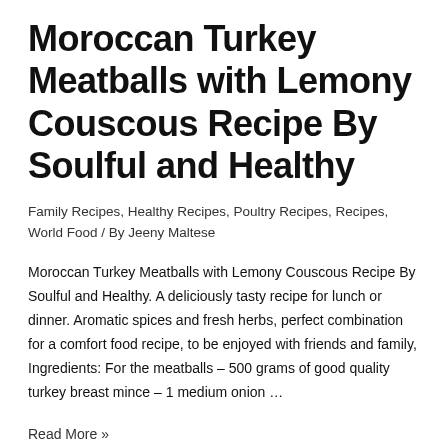Moroccan Turkey Meatballs with Lemony Couscous Recipe By Soulful and Healthy
Family Recipes, Healthy Recipes, Poultry Recipes, Recipes, World Food / By Jeeny Maltese
Moroccan Turkey Meatballs with Lemony Couscous Recipe By Soulful and Healthy. A deliciously tasty recipe for lunch or dinner. Aromatic spices and fresh herbs, perfect combination for a comfort food recipe, to be enjoyed with friends and family, Ingredients: For the meatballs – 500 grams of good quality turkey breast mince – 1 medium onion …
Read More »